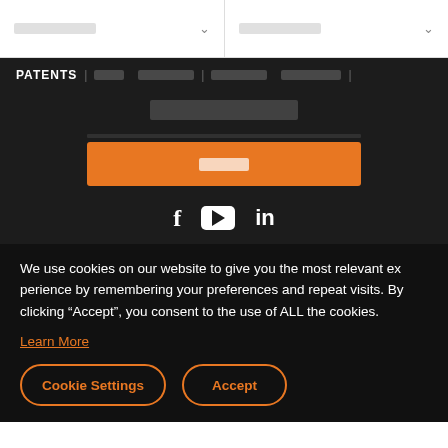[redacted navigation] [redacted navigation]
PATENTS | [redacted] | [redacted] | [redacted] | [redacted] |
[redacted search title]
[Search button]
[Figure (infographic): Social media icons: Facebook (f), YouTube (play button), LinkedIn (in)]
We use cookies on our website to give you the most relevant experience by remembering your preferences and repeat visits. By clicking “Accept”, you consent to the use of ALL the cookies.
Learn More
Cookie Settings   Accept